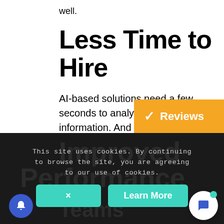well.
Less Time to Hire
[Figure (infographic): Orange badge with checkmark and 'Reviews' label in white text on orange background]
AI-based solutions need a few seconds to analyze the amount of information. And revert with effective outputs. Which consider in finalizing the hiring decision.
This site uses cookies. By continuing to browse the site, you are agreeing to our use of cookies.
× Learn More